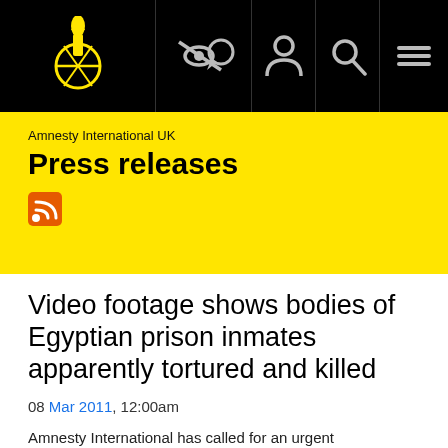[Figure (logo): Amnesty International candle logo in yellow on black navbar with navigation icons (accessibility, person, search, hamburger menu)]
Amnesty International UK
Press releases
Video footage shows bodies of Egyptian prison inmates apparently tortured and killed
08 Mar 2011, 12:00am
Amnesty International has called for an urgent investigation by the Egyptian authorities after receiving video footage of prison inmates showing the bodies of